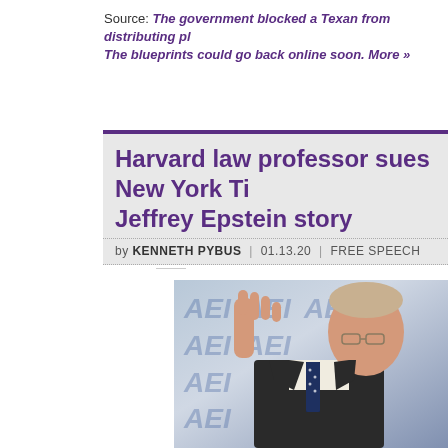Source: The government blocked a Texan from distributing ph... The blueprints could go back online soon. More »
Harvard law professor sues New York Ti... Jeffrey Epstein story
by KENNETH PYBUS | 01.13.20 | FREE SPEECH
[Figure (photo): A man in a dark suit gesturing with one hand raised, speaking at an AEI event. The background shows repeated AEI logos in blue and white.]